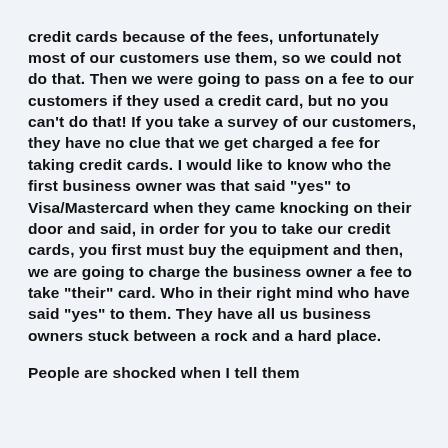credit cards because of the fees, unfortunately most of our customers use them, so we could not do that. Then we were going to pass on a fee to our customers if they used a credit card, but no you can't do that! If you take a survey of our customers, they have no clue that we get charged a fee for taking credit cards. I would like to know who the first business owner was that said "yes" to Visa/Mastercard when they came knocking on their door and said, in order for you to take our credit cards, you first must buy the equipment and then, we are going to charge the business owner a fee to take "their" card. Who in their right mind who have said "yes" to them. They have all us business owners stuck between a rock and a hard place.
People are shocked when I tell them